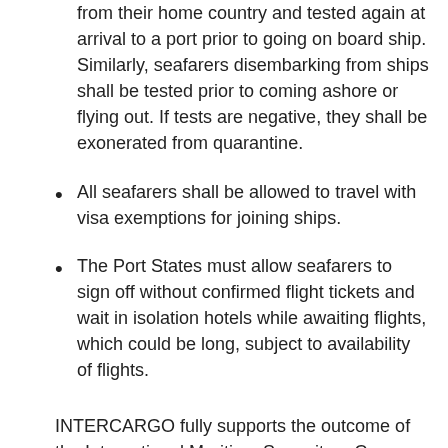from their home country and tested again at arrival to a port prior to going on board ship. Similarly, seafarers disembarking from ships shall be tested prior to coming ashore or flying out. If tests are negative, they shall be exonerated from quarantine.
All seafarers shall be allowed to travel with visa exemptions for joining ships.
The Port States must allow seafarers to sign off without confirmed flight tickets and wait in isolation hotels while awaiting flights, which could be long, subject to availability of flights.
INTERCARGO fully supports the outcome of the International Maritime Summit on Crew Change earlier in July, where thirteen countries signed agreements to facilitate crew changes.